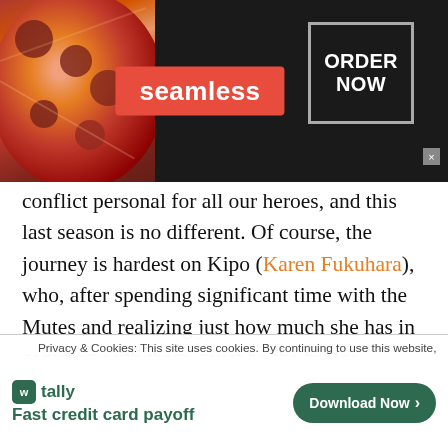[Figure (screenshot): Seamless food delivery advertisement banner with pizza image on the left, Seamless logo in red badge in center, and ORDER NOW button in a box on the right, all on dark background]
conflict personal for all our heroes, and this last season is no different. Of course, the journey is hardest on Kipo (Karen Fukuhara), who, after spending significant time with the Mutes and realizing just how much she has in common with them, must be the bridge between Mutes and her human society. She is visibly torn on how to go about making the right decisions, but finds, with the help of her friends and family (dad Lio (Sterling K.
Privacy & Cookies: This site uses cookies. By continuing to use this website,
[Figure (screenshot): Tally app advertisement: green Tally logo icon and name on left, tagline Fast credit card payoff below, Download Now button in green pill shape on right, with close/question mark buttons top right]